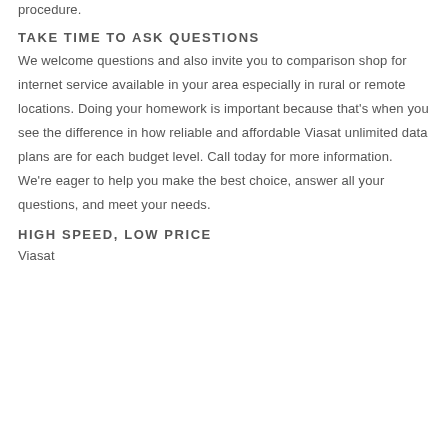procedure.
TAKE TIME TO ASK QUESTIONS
We welcome questions and also invite you to comparison shop for internet service available in your area especially in rural or remote locations. Doing your homework is important because that's when you see the difference in how reliable and affordable Viasat unlimited data plans are for each budget level. Call today for more information. We're eager to help you make the best choice, answer all your questions, and meet your needs.
HIGH SPEED, LOW PRICE
Viasat…